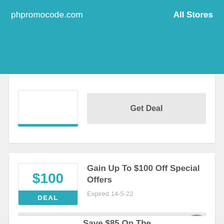phpromocode.com   All Stores
Get Deal
$100
DEAL
Gain Up To $100 Off Special Offers
Expired 14-5-22
Get Deal
Save $85 On The